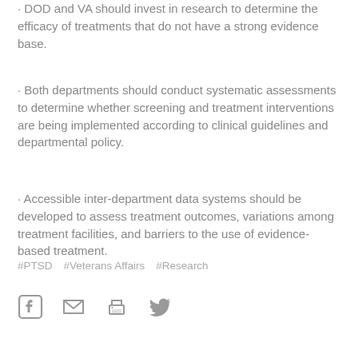· DOD and VA should invest in research to determine the efficacy of treatments that do not have a strong evidence base.
· Both departments should conduct systematic assessments to determine whether screening and treatment interventions are being implemented according to clinical guidelines and departmental policy.
· Accessible inter-department data systems should be developed to assess treatment outcomes, variations among treatment facilities, and barriers to the use of evidence-based treatment.
#PTSD   #Veterans Affairs   #Research
[Figure (other): Social sharing icons: Facebook, email, print, Twitter]